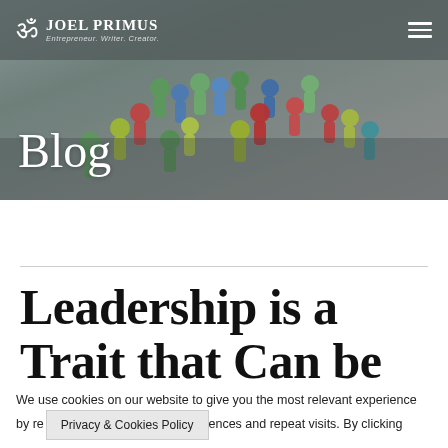Joel Primus — Entrepreneur. Writer. Creator.
[Figure (photo): Hero banner showing colorful wooden pawn figures (green, blue, red, yellow) clustered together on a light gray background, representing leadership and diversity. A navigation bar overlays the top of the image with the Joel Primus logo and hamburger menu icon.]
Blog
Leadership is a Trait that Can be
We use cookies on our website to give you the most relevant experience by remembering your preferences and repeat visits. By clicking ...
Privacy & Cookies Policy